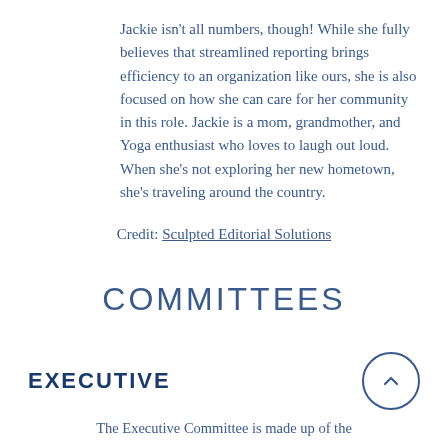Jackie isn't all numbers, though! While she fully believes that streamlined reporting brings efficiency to an organization like ours, she is also focused on how she can care for her community in this role. Jackie is a mom, grandmother, and Yoga enthusiast who loves to laugh out loud. When she's not exploring her new hometown, she's traveling around the country.
Credit: Sculpted Editorial Solutions
COMMITTEES
EXECUTIVE
The Executive Committee is made up of the